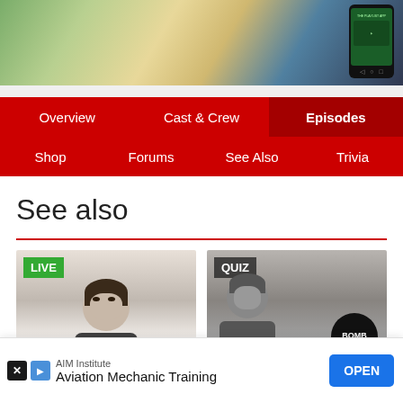[Figure (screenshot): Top portion of a TV show page showing a colorful illustration of people in a shop and a mobile phone mockup on the right]
[Figure (screenshot): Navigation bar with red background containing menu items: Overview, Cast & Crew, Episodes (active/highlighted), Shop, Forums, See Also, Trivia]
See also
[Figure (photo): Left card with LIVE badge showing a young man with dark curly hair against a light background]
[Figure (photo): Right card with QUIZ badge showing a person in black and white photo holding a black bomb prop with BOMB text on it]
[Figure (screenshot): Advertisement banner for AIM Institute Aviation Mechanic Training with OPEN button]